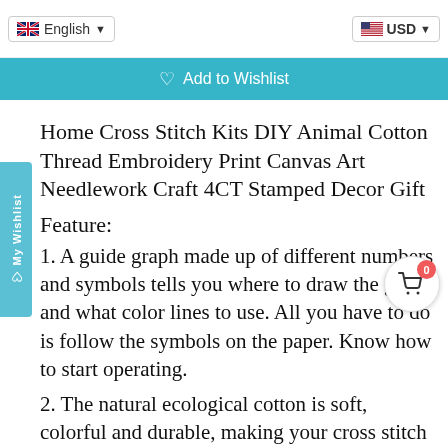English | Add to Wishlist | USD
Home Cross Stitch Kits DIY Animal Cotton Thread Embroidery Print Canvas Art Needlework Craft 4CT Stamped Decor Gift
Feature:
1. A guide graph made up of different numbers and symbols tells you where to draw the grid and what color lines to use. All you have to do is follow the symbols on the paper. Know how to start operating.
2. The natural ecological cotton is soft, colorful and durable, making your cross stitch smooth, vivid and durable.
3. Cross-stitch artworks will bring you a happy time and a sense of accomplishment when you finish